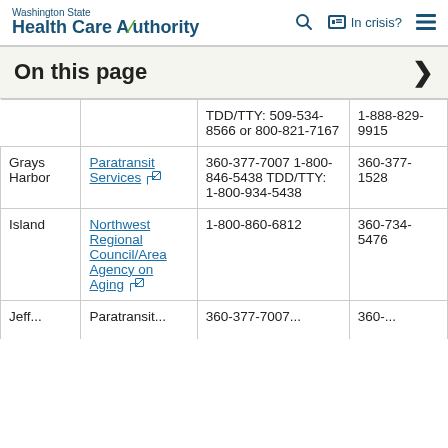Washington State Health Care Authority | Search | In crisis? | Menu
On this page
|  |  | TDD/TTY: 509-534-8566 or 800-821-7167 | 1-888-829-9915 |
| Grays Harbor | Paratransit Services | 360-377-7007
1-800-846-5438
TDD/TTY: 1-800-934-5438 | 360-377-1528 |
| Island | Northwest Regional Council/Area Agency on Aging | 1-800-860-6812 | 360-734-5476 |
| Jeff... | Paratransit... | 360-377-7007... | 360-... |